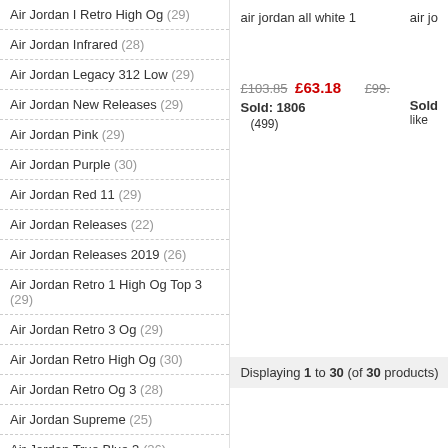Air Jordan I Retro High Og (29)
Air Jordan Infrared (28)
Air Jordan Legacy 312 Low (29)
Air Jordan New Releases (29)
Air Jordan Pink (29)
Air Jordan Purple (30)
Air Jordan Red 11 (29)
Air Jordan Releases (22)
Air Jordan Releases 2019 (26)
Air Jordan Retro 1 High Og Top 3 (29)
Air Jordan Retro 3 Og (29)
Air Jordan Retro High Og (30)
Air Jordan Retro Og 3 (28)
Air Jordan Supreme (25)
Air Jordan True Blue 3 (26)
air jordan all white 1    air jo
£103.85  £63.18    £99.
Sold: 1806    Sold
(499)    like
Displaying 1 to 30 (of 30 products)